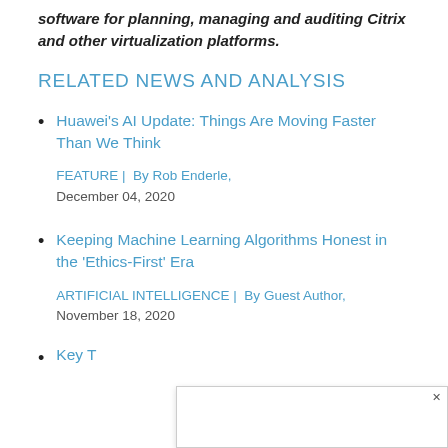software for planning, managing and auditing Citrix and other virtualization platforms.
RELATED NEWS AND ANALYSIS
Huawei's AI Update: Things Are Moving Faster Than We Think
FEATURE | By Rob Enderle,
December 04, 2020
Keeping Machine Learning Algorithms Honest in the 'Ethics-First' Era
ARTIFICIAL INTELLIGENCE | By Guest Author,
November 18, 2020
Key T...